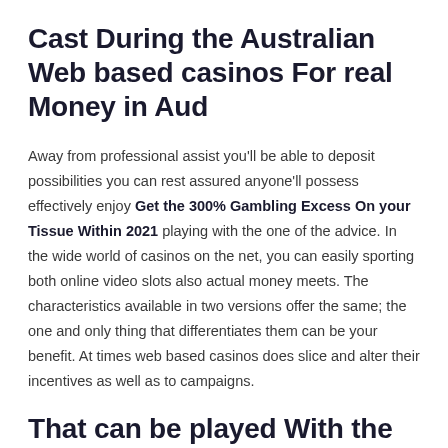Cast During the Australian Web based casinos For real Money in Aud
Away from professional assist you'll be able to deposit possibilities you can rest assured anyone'll possess effectively enjoy Get the 300% Gambling Excess On your Tissue Within 2021 playing with the one of the advice. In the wide world of casinos on the net, you can easily sporting both online video slots also actual money meets. The characteristics available in two versions offer the same; the one and only thing that differentiates them can be your benefit. At times web based casinos does slice and alter their incentives as well as to campaigns.
That can be played With the Cell